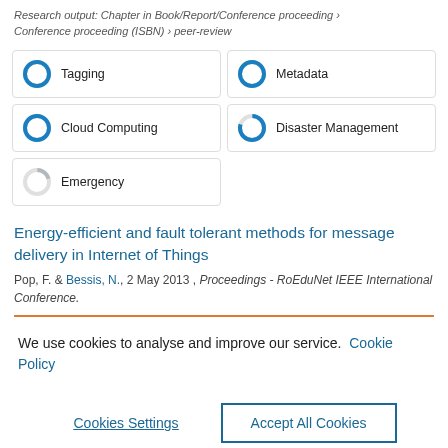Research output: Chapter in Book/Report/Conference proceeding › Conference proceeding (ISBN) › peer-review
[Figure (infographic): Five keyword badge tiles arranged in a 2-column grid with donut/ring percentage icons: Tagging (100%), Metadata (100%), Cloud Computing (100%), Disaster Management (80%), Emergency (20%)]
Energy-efficient and fault tolerant methods for message delivery in Internet of Things
Pop, F. & Bessis, N., 2 May 2013, Proceedings - RoEduNet IEEE International Conference.
We use cookies to analyse and improve our service. Cookie Policy
Cookies Settings    Accept All Cookies